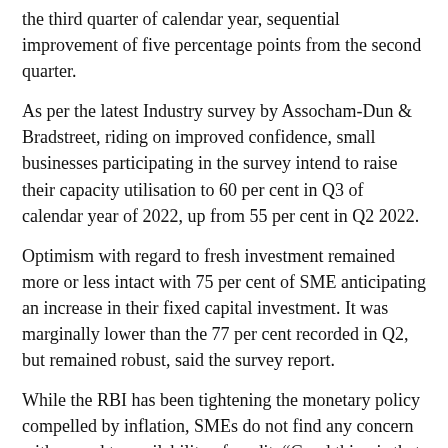the third quarter of calendar year, sequential improvement of five percentage points from the second quarter.
As per the latest Industry survey by Assocham-Dun & Bradstreet, riding on improved confidence, small businesses participating in the survey intend to raise their capacity utilisation to 60 per cent in Q3 of calendar year of 2022, up from 55 per cent in Q2 2022.
Optimism with regard to fresh investment remained more or less intact with 75 per cent of SME anticipating an increase in their fixed capital investment. It was marginally lower than the 77 per cent recorded in Q2, but remained robust, said the survey report.
While the RBI has been tightening the monetary policy compelled by inflation, SMEs do not find any concern with regard to availability of credit. “Good thing is that the latest RBI credit policy statement gave an assurance that enough liquidity would remain in the system,” ASSOCHAM Secretary General Deepak Sood said. He expressed hope that the banks would continue to meet the working capital requirements of the SMEs ahead of the ensuing festive